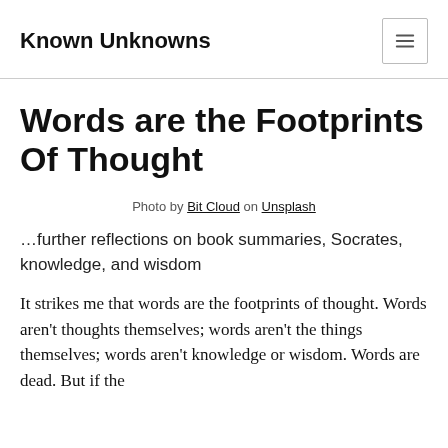Known Unknowns
Words are the Footprints Of Thought
Photo by Bit Cloud on Unsplash
…further reflections on book summaries, Socrates, knowledge, and wisdom
It strikes me that words are the footprints of thought. Words aren't thoughts themselves; words aren't the things themselves; words aren't knowledge or wisdom. Words are dead. But if the